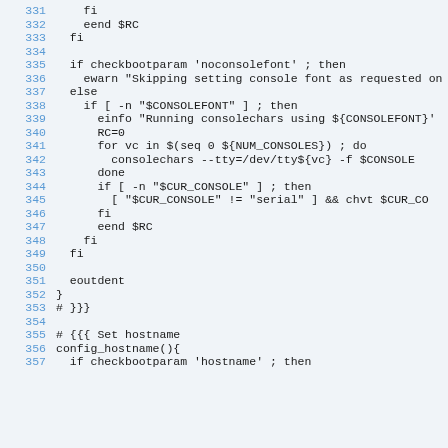331     fi
332     eend $RC
333   fi
334
335   if checkbootparam 'noconsolefont' ; then
336     ewarn "Skipping setting console font as requested on
337   else
338     if [ -n "$CONSOLEFONT" ] ; then
339       einfo "Running consolechars using ${CONSOLEFONT}'
340       RC=0
341       for vc in $(seq 0 ${NUM_CONSOLES}) ; do
342         consolechars --tty=/dev/tty${vc} -f $CONSOLE
343       done
344       if [ -n "$CUR_CONSOLE" ] ; then
345         [ "$CUR_CONSOLE" != "serial" ] && chvt $CUR_CO
346       fi
347       eend $RC
348     fi
349   fi
350
351   eoutdent
352 }
353 # }}}
354
355 # {{{ Set hostname
356 config_hostname(){
357   if checkbootparam 'hostname' ; then